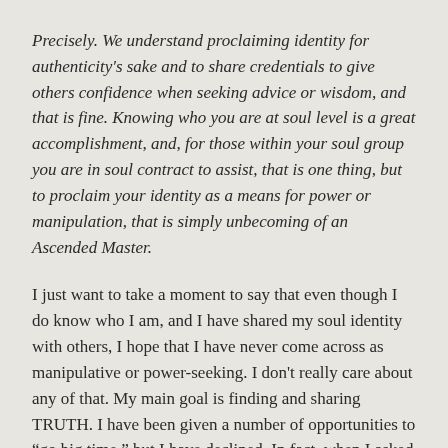Precisely. We understand proclaiming identity for authenticity's sake and to share credentials to give others confidence when seeking advice or wisdom, and that is fine. Knowing who you are at soul level is a great accomplishment, and, for those within your soul group you are in soul contract to assist, that is one thing, but to proclaim your identity as a means for power or manipulation, that is simply unbecoming of an Ascended Master.
I just want to take a moment to say that even though I do know who I am, and I have shared my soul identity with others, I hope that I have never come across as manipulative or power-seeking. I don't really care about any of that. My main goal is finding and sharing TRUTH. I have been given a number of opportunities to "go big time," but I have declined. In fact, when I asked my higher-self for guidance on the matter, she said